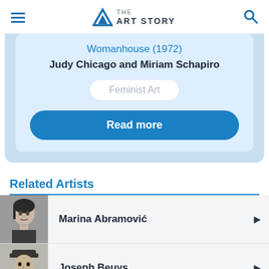THE ART STORY
Womanhouse (1972)
Judy Chicago and Miriam Schapiro
Feminist Art
Read more
Related Artists
Marina Abramović
Joseph Beuys